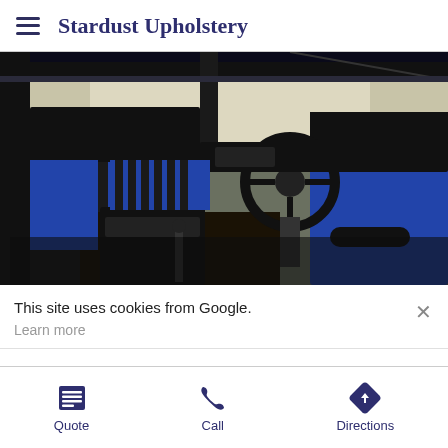Stardust Upholstery
[Figure (photo): Interior of a vehicle with custom blue and black two-tone upholstery on bench seats and door panels, showing steering wheel, center console, and dashboard.]
This site uses cookies from Google.
Learn more
Quote | Call | Directions